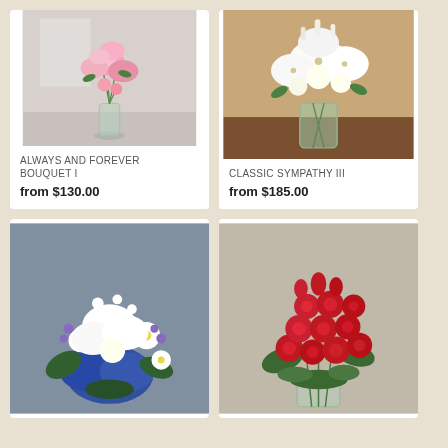[Figure (photo): Pink stargazer lilies and roses in a clear glass vase on a gray surface]
ALWAYS AND FOREVER BOUQUET I
from $130.00
[Figure (photo): White lilies and roses in a clear glass vase on a wooden surface with tan background]
CLASSIC SYMPATHY III
from $185.00
[Figure (photo): Blue and white mixed flower bouquet with lilies, daisies, and hydrangeas]
[Figure (photo): Two dozen red roses in a clear glass vase with greenery]